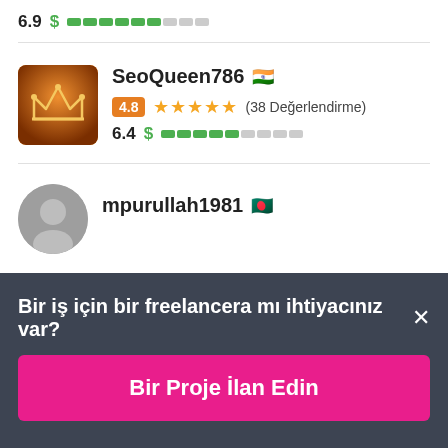6.9 $ [price bar]
[Figure (screenshot): SeoQueen786 freelancer profile with Indian flag, rating badge 4.8, 5 orange stars, (38 Değerlendirme), price 6.4 with green dollar bar]
SeoQueen786 🇮🇳
4.8 ★★★★★ (38 Değerlendirme)
6.4 $ [price bar]
mpurullah1981
Bir iş için bir freelancera mı ihtiyacınız var? ×
Bir Proje İlan Edin